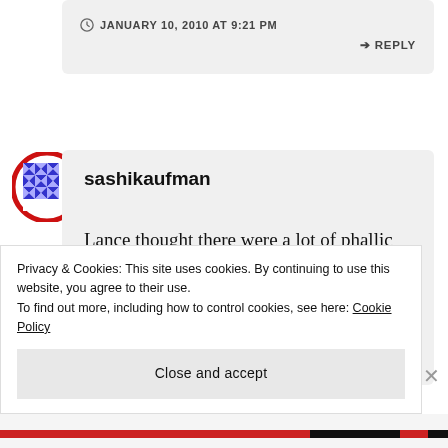JANUARY 10, 2010 AT 9:21 PM
↳ REPLY
[Figure (illustration): Avatar icon: circular badge with red border containing a blue geometric/quilt pattern on white background]
sashikaufman
Lance thought there were a lot of phallic symbols as well....hmmm.
Privacy & Cookies: This site uses cookies. By continuing to use this website, you agree to their use.
To find out more, including how to control cookies, see here: Cookie Policy
Close and accept